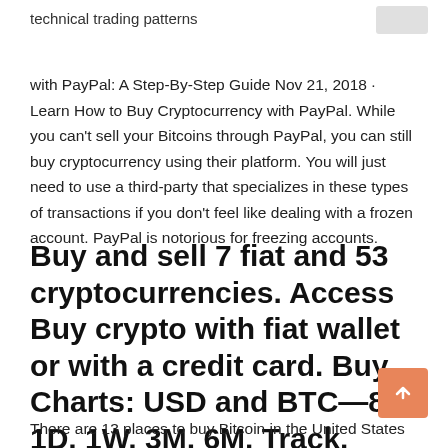technical trading patterns
with PayPal: A Step-By-Step Guide Nov 21, 2018 · Learn How to Buy Cryptocurrency with PayPal. While you can't sell your Bitcoins through PayPal, you can still buy cryptocurrency using their platform. You will just need to use a third-party that specializes in these types of transactions if you don't feel like dealing with a frozen account. PayPal is notorious for freezing accounts.
Buy and sell 7 fiat and 53 cryptocurrencies. Access Buy crypto with fiat wallet or with a credit card. Buy Charts: USD and BTC—8H, 1D, 1W, 3M, 6M. Track.
There are 13 places to buy Bitcoin in the United States listed on